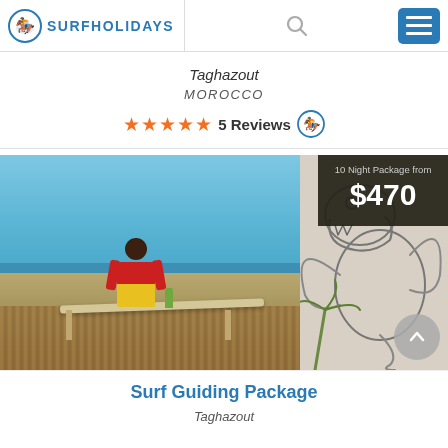SURFHOLIDAYS
Taghazout
MOROCCO
★★★★★ 5 Reviews
[Figure (photo): A person in a red and yellow sleeveless top sitting at a beach-view terrace with a surfboard on a table, overlooking the ocean in Taghazout, Morocco. Right side shows a cartoon dragon/monster illustration. Price overlay reads: 10 Night Package from $470.]
Surf Guiding Package
Taghazout